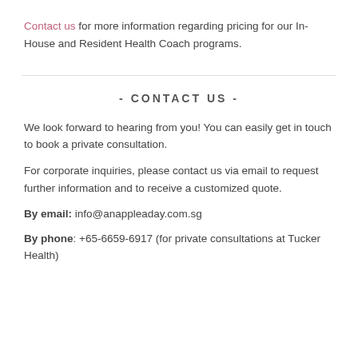Contact us for more information regarding pricing for our In-House and Resident Health Coach programs.
- CONTACT US -
We look forward to hearing from you! You can easily get in touch to book a private consultation.
For corporate inquiries, please contact us via email to request further information and to receive a customized quote.
By email: info@anappleaday.com.sg
By phone: +65-6659-6917 (for private consultations at Tucker Health)